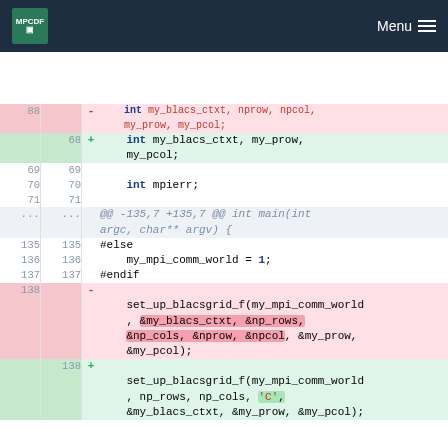MPCDF Menu
[Figure (screenshot): Code diff view showing changes to C source code. Lines 68-71, then hunk header @@ -135,7 +135,7 @@ int main(int argc, char** argv) {, then lines 135-138 with diff. Line 138 is deleted (set_up_blacsgrid_f with &my_blacs_ctxt, &np_rows, &np_cols, &nprow, &npcol, &my_prow, &my_pcol). Line 138 added (set_up_blacsgrid_f with np_rows, np_cols, 'C', &my_blacs_ctxt, &my_prow, &my_pcol).]